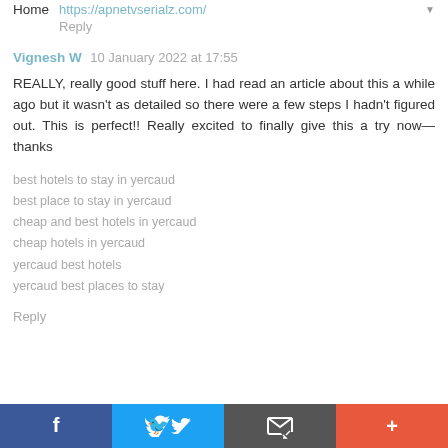Home  https://apnetvserialz.com/
Reply
Vignesh W  10 January 2022 at 17:55
REALLY, really good stuff here. I had read an article about this a while ago but it wasn't as detailed so there were a few steps I hadn't figured out. This is perfect!! Really excited to finally give this a try now— thanks
best hotels to stay in yercaud
best place to stay in yercaud
cheap and best hotels in yercaud
cheap hotels in yercaud
yercaud best hotels
yercaud best places to stay
Reply
[Figure (infographic): Bottom social share bar with four buttons: Facebook (blue), Twitter (light blue), Email/share (dark grey), Plus/more (orange-red)]